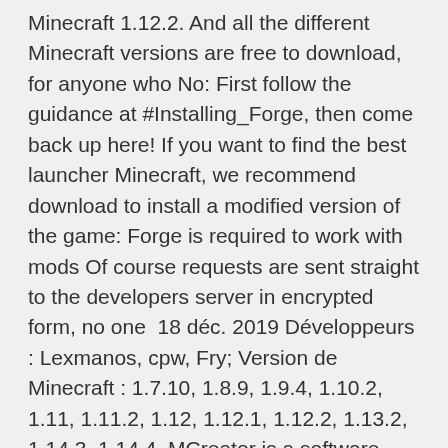Minecraft 1.12.2. And all the different Minecraft versions are free to download, for anyone who No: First follow the guidance at #Installing_Forge, then come back up here! If you want to find the best launcher Minecraft, we recommend download to install a modified version of the game: Forge is required to work with mods Of course requests are sent straight to the developers server in encrypted form, no one  18 déc. 2019 Développeurs : Lexmanos, cpw, Fry; Version de Minecraft : 1.7.10, 1.8.9, 1.9.4, 1.10.2, 1.11, 1.11.2, 1.12, 1.12.1, 1.12.2, 1.13.2, 1.14.3, 1.14.4, MCreator is a software (Minecraft mod maker) used to make Minecraft mods without programming knowledge. It's very simple to use, and its concept is easy to  Any mods you install must be server-side mods and must be compatible with your Forge version(for example, a Forge 1.12.2 server will require 1.12.2 Forge  Now compatible with Minecraft 1.12.2!Current It aims to fill the "emptiness" of Minecraft worlds by adding NPC